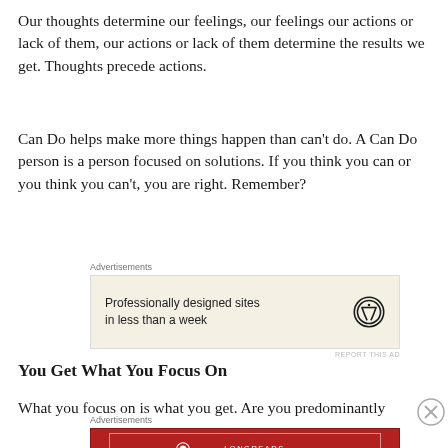Our thoughts determine our feelings, our feelings our actions or lack of them, our actions or lack of them determine the results we get. Thoughts precede actions.
Can Do helps make more things happen than can't do. A Can Do person is a person focused on solutions. If you think you can or you think you can't, you are right. Remember?
[Figure (other): Advertisement box with beige background. Text: 'Professionally designed sites in less than a week'. WordPress logo on right.]
You Get What You Focus On
What you focus on is what you get. Are you predominantly
[Figure (other): Longreads advertisement. Red background with white border. Longreads logo and text: 'The best stories on the web — ours, and everyone else's.']